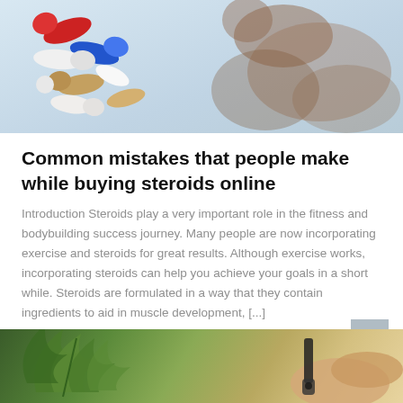[Figure (photo): Top portion of a photo showing colorful pills/capsules (red, blue, white, tan) with a blurred brown shadow figure in the background on a light blue background]
Common mistakes that people make while buying steroids online
Introduction Steroids play a very important role in the fitness and bodybuilding success journey. Many people are now incorporating exercise and steroids for great results. Although exercise works, incorporating steroids can help you achieve your goals in a short while. Steroids are formulated in a way that they contain ingredients to aid in muscle development, [...]
DECEMBER 13, 2021   BY MARY LUKE
[Figure (photo): Bottom portion showing cannabis/hemp leaves and a hand holding a dropper bottle, partially cropped]